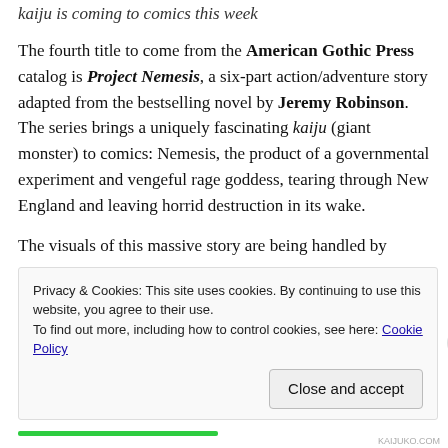kaiju is coming to comics this week
The fourth title to come from the American Gothic Press catalog is Project Nemesis, a six-part action/adventure story adapted from the bestselling novel by Jeremy Robinson. The series brings a uniquely fascinating kaiju (giant monster) to comics: Nemesis, the product of a governmental experiment and vengeful rage goddess, tearing through New England and leaving horrid destruction in its wake.
The visuals of this massive story are being handled by
Privacy & Cookies: This site uses cookies. By continuing to use this website, you agree to their use.
To find out more, including how to control cookies, see here: Cookie Policy
Close and accept